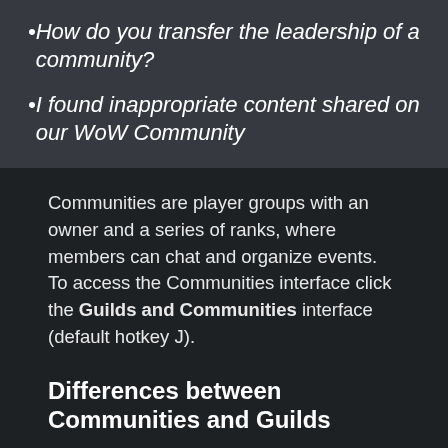How do you transfer the leadership of a community?
I found inappropriate content shared on our WoW Community
Communities are player groups with an owner and a series of ranks, where members can chat and organize events. To access the Communities interface click the Guilds and Communities interface (default hotkey J).
Differences between Communities and Guilds
|  | COMMUNITIES | GUILD |
| --- | --- | --- |
| Cross-realm | Yes | No |